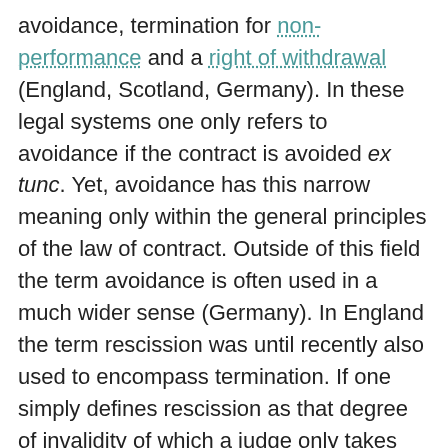avoidance, termination for non-performance and a right of withdrawal (England, Scotland, Germany). In these legal systems one only refers to avoidance if the contract is avoided ex tunc. Yet, avoidance has this narrow meaning only within the general principles of the law of contract. Outside of this field the term avoidance is often used in a much wider sense (Germany). In England the term rescission was until recently also used to encompass termination. If one simply defines rescission as that degree of invalidity of which a judge only takes account after one party has invalidated the contract, by notice for example, then there is no problem with including termination in such a wide concept of rescission.
The modern model rules do not draw further distinctions within avoidance, narrowly conceived (PECL, UNIDROIT PICC). Some European legal systems, however, still distinguish between different forms of avoidance, such as for